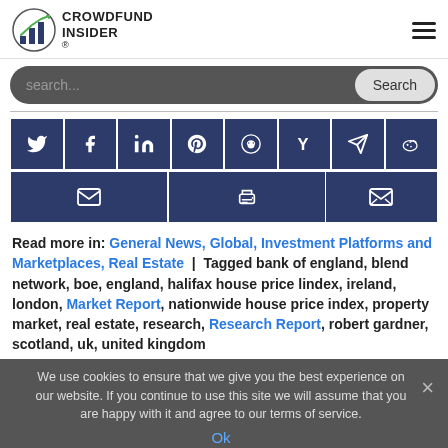CROWDFUND INSIDER
[Figure (screenshot): Social media share buttons row: Twitter, Facebook, LinkedIn, Pinterest, Reddit, Hacker News, Telegram, Weibo]
[Figure (screenshot): Second row of share/action buttons: email, print, email]
Read more in: General News, Global, Investment Platforms and Marketplaces, Real Estate | Tagged bank of england, blend network, boe, england, halifax house price lindex, ireland, london, Market Report, nationwide house price index, property market, real estate, research, Research Report, robert gardner, scotland, uk, united kingdom
We use cookies to ensure that we give you the best experience on our website. If you continue to use this site we will assume that you are happy with it and agree to our terms of service.
Real Estate Report: UK's Annual